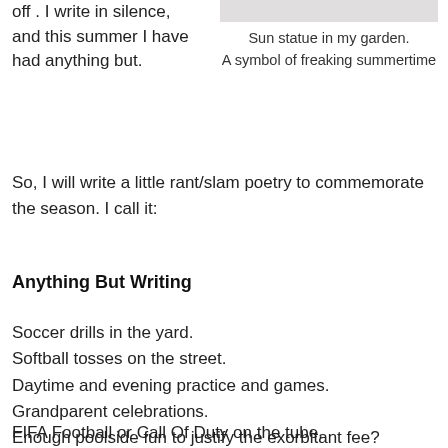off . I write in silence, and this summer I have had anything but.
[Figure (photo): Partial image of sun statue in garden, cropped at top]
Sun statue in my garden.
A symbol of freaking summertime
So, I will write a little rant/slam poetry to commemorate the season. I call it:
Anything But Writing
Soccer drills in the yard.
Softball tosses on the street.
Daytime and evening practice and games.
Grandparent celebrations.
Enough poolside fun to justify the exorbitant fee? Check.
FIFA Football or Call Of Duty on the tube.